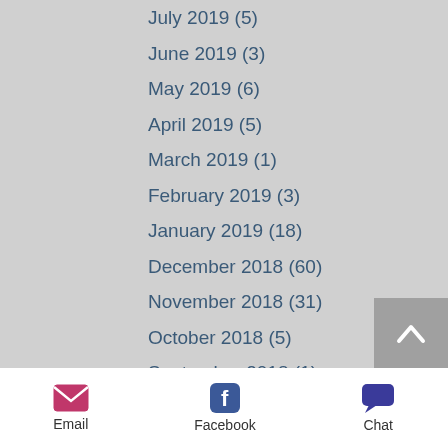July 2019 (5)
June 2019 (3)
May 2019 (6)
April 2019 (5)
March 2019 (1)
February 2019 (3)
January 2019 (18)
December 2018 (60)
November 2018 (31)
October 2018 (5)
September 2018 (1)
July 2018 (2)
June 2018 (6)
May 2018 (2)
April 2018 (22)
March 2018 (3)
Email  Facebook  Chat